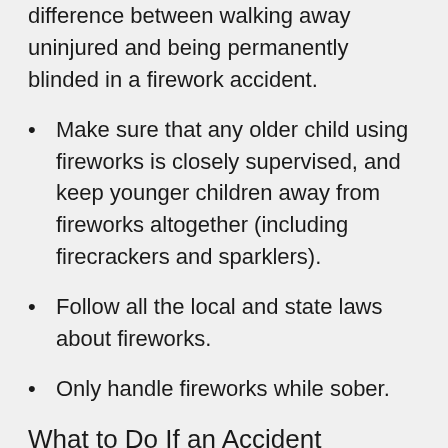difference between walking away uninjured and being permanently blinded in a firework accident.
Make sure that any older child using fireworks is closely supervised, and keep younger children away from fireworks altogether (including firecrackers and sparklers).
Follow all the local and state laws about fireworks.
Only handle fireworks while sober.
What to Do If an Accident Happens
Following all of the safety instructions will be enough to prevent most injuries from fireworks, but if an accident does happen, the next steps are critical. If there’s a piece of firework in the